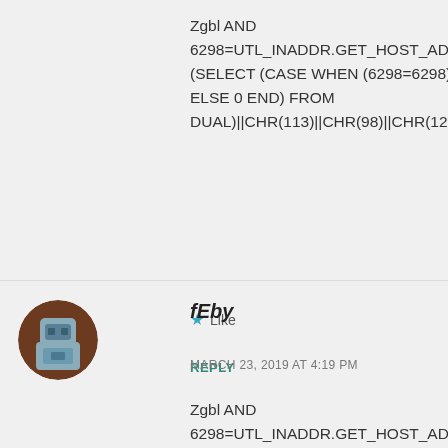Zgbl AND
6298=UTL_INADDR.GET_HOST_ADDRESS(CHR(113)
(SELECT (CASE WHEN (6298=6298) THEN 1
ELSE 0 END) FROM
DUAL)||CHR(113)||CHR(98)||CHR(122)||CHR(112)|
★ Like
REPLY
[Figure (illustration): Circular avatar icon with brown background and grey stylized robot/character design]
fEby
MARCH 23, 2019 AT 4:19 PM
Zgbl AND
6298=UTL_INADDR.GET_HOST_ADDRESS(CHR(113)